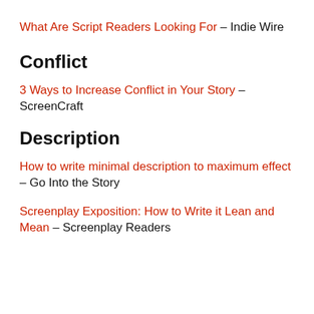What Are Script Readers Looking For – Indie Wire
Conflict
3 Ways to Increase Conflict in Your Story – ScreenCraft
Description
How to write minimal description to maximum effect – Go Into the Story
Screenplay Exposition: How to Write it Lean and Mean – Screenplay Readers